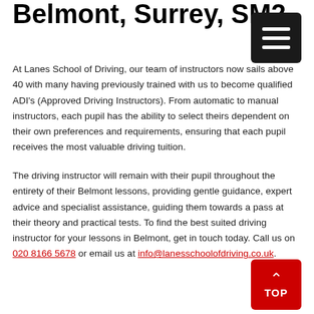Belmont, Surrey, SM2
At Lanes School of Driving, our team of instructors now sails above 40 with many having previously trained with us to become qualified ADI's (Approved Driving Instructors). From automatic to manual instructors, each pupil has the ability to select theirs dependent on their own preferences and requirements, ensuring that each pupil receives the most valuable driving tuition.
The driving instructor will remain with their pupil throughout the entirety of their Belmont lessons, providing gentle guidance, expert advice and specialist assistance, guiding them towards a pass at their theory and practical tests. To find the best suited driving instructor for your lessons in Belmont, get in touch today. Call us on 020 8166 5678 or email us at info@lanesschoolofdriving.co.uk.